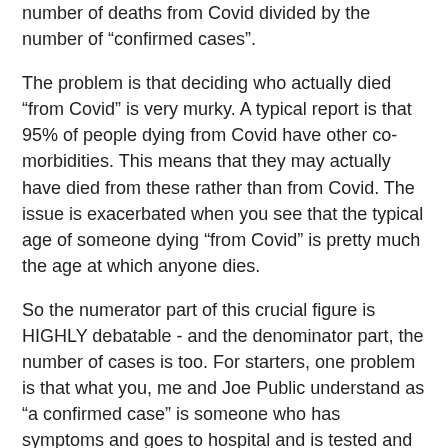number of deaths from Covid divided by the number of “confirmed cases”.
The problem is that deciding who actually died “from Covid” is very murky. A typical report is that 95% of people dying from Covid have other co-morbidities. This means that they may actually have died from these rather than from Covid. The issue is exacerbated when you see that the typical age of someone dying “from Covid” is pretty much the age at which anyone dies.
So the numerator part of this crucial figure is HIGHLY debatable - and the denominator part, the number of cases is too. For starters, one problem is that what you, me and Joe Public understand as “a confirmed case” is someone who has symptoms and goes to hospital and is tested and found to have the virus. That would all make sense. But in fact, a case is simply someone who has the virus. And again, it is agreed that the great majority of people who encounter the virus never have any symptoms. These people are often not counted. This is why the number of cases a country has depends essentially on how much testing the government